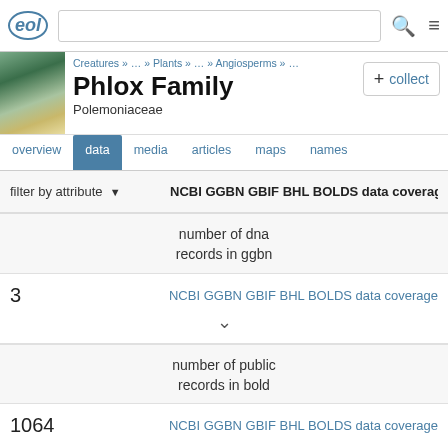eol | [search box] | [menu]
[Figure (photo): Photo of Phlox flowers, white and yellow blooms]
Creatures » … » Plants » … » Angiosperms » …
Phlox Family
Polemoniaceae
+ collect
overview  data  media  articles  maps  names
filter by attribute ▼   NCBI GGBN GBIF BHL BOLDS data coverage
number of dna
records in ggbn
3   NCBI GGBN GBIF BHL BOLDS data coverage
∨
number of public
records in bold
1064   NCBI GGBN GBIF BHL BOLDS data coverage
∨